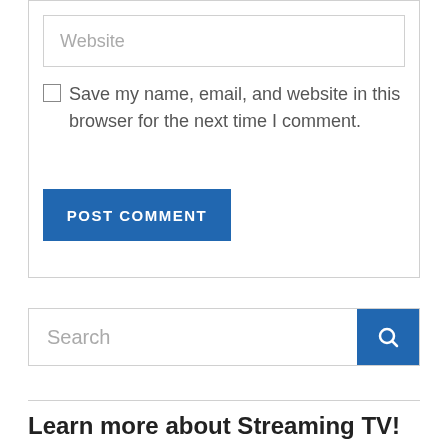Website
Save my name, email, and website in this browser for the next time I comment.
POST COMMENT
Search
Learn more about Streaming TV!